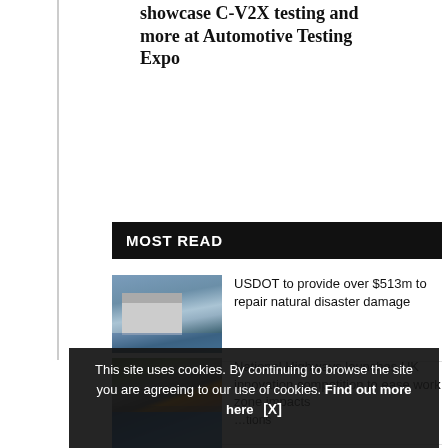showcase C-V2X testing and more at Automotive Testing Expo
MOST READ
USDOT to provide over $513m to repair natural disaster damage
National Highways launches UK innovation competition to ease work zone impacts
[partial third article]
This site uses cookies. By continuing to browse the site you are agreeing to our use of cookies. Find out more here [X]